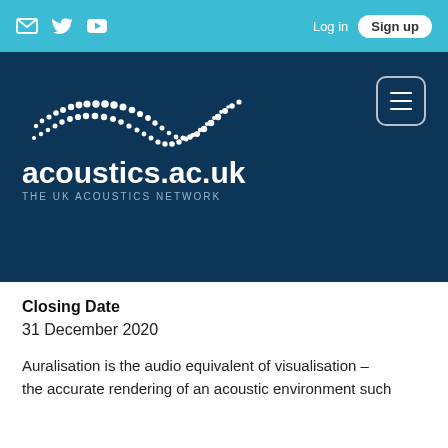Log in  Sign up
[Figure (logo): acoustics.ac.uk – The UK Acoustics Network logo with wave pattern of white dots on dark blue background]
Closing Date
31 December 2020
Auralisation is the audio equivalent of visualisation – the accurate rendering of an acoustic environment such